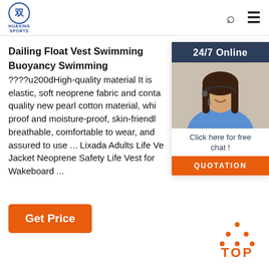HUAXING SPORTS
[Figure (screenshot): 24/7 Online chat widget with photo of woman with headset, 'Click here for free chat!' text and QUOTATION button]
Dailing Float Vest Swimming Buoyancy Swimming ????u200d️High-quality material️ It is elastic, soft neoprene fabric and conta quality new pearl cotton material, whi proof and moisture-proof, skin-friendly breathable, comfortable to wear, and assured to use ... Lixada Adults Life Ve Jacket Neoprene Safety Life Vest for Wakeboard ...
[Figure (other): Get Price orange button]
[Figure (other): TOP scroll-to-top button with orange dotted triangle icon]